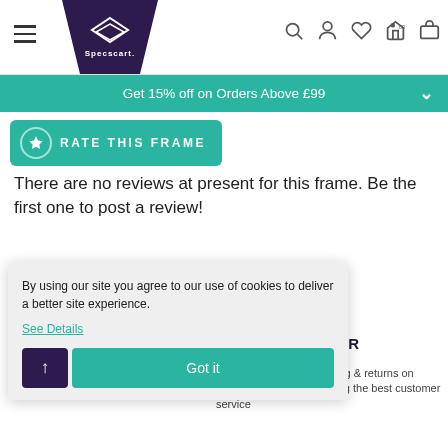[Figure (screenshot): Specscart website navigation bar with hamburger menu, logo, and icons for search, account, wishlist, store, and cart]
Get 15% off on Orders Above £99
[Figure (screenshot): RATE THIS FRAME button in teal/green color with star icon]
There are no reviews at present for this frame. Be the first one to post a review!
ise
S ON EVERY ORDER
etter. We offer free shipping & returns on every order, while providing the best customer service
By using our site you agree to our use of cookies to deliver a better site experience.
See Details
Got it